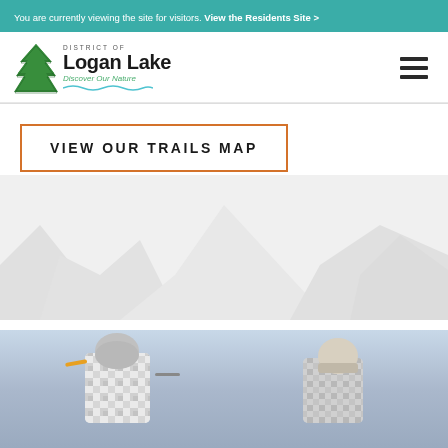You are currently viewing the site for visitors. View the Residents Site >
[Figure (logo): District of Logan Lake logo with pine tree icon and tagline 'Discover Our Nature']
VIEW OUR TRAILS MAP
[Figure (illustration): Mountain silhouette background in light gray]
[Figure (photo): Photo of snowboarders/winter sport activity in snowy conditions]